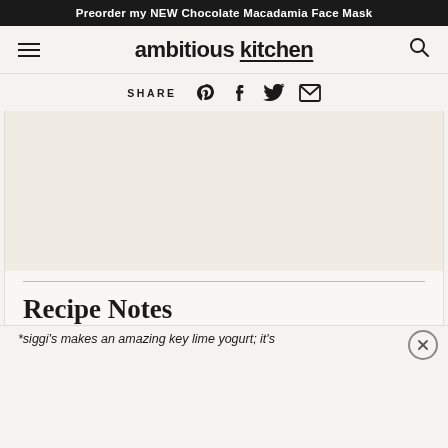Preorder my NEW Chocolate Macadamia Face Mask
ambitious kitchen
SHARE
[Figure (photo): Photo placeholder / food image area]
Recipe Notes
*siggi's makes an amazing key lime yogurt; it's